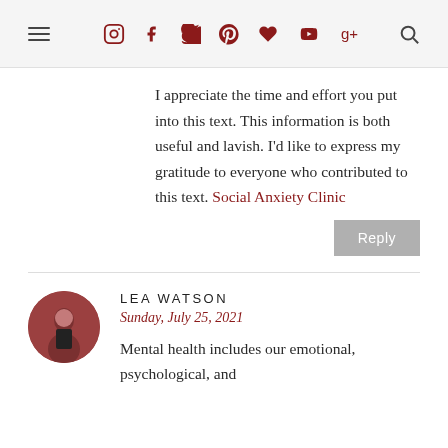Navigation bar with hamburger menu, social icons (Instagram, Facebook, Twitter, Pinterest, Heart, YouTube, Google+), and search icon
I appreciate the time and effort you put into this text. This information is both useful and lavish. I'd like to express my gratitude to everyone who contributed to this text. Social Anxiety Clinic
Reply
LEA WATSON
Sunday, July 25, 2021
Mental health includes our emotional, psychological, and